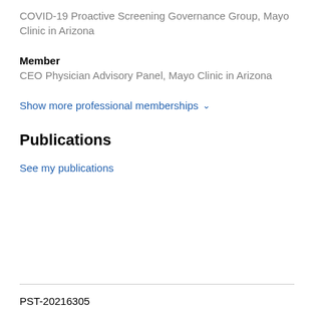COVID-19 Proactive Screening Governance Group, Mayo Clinic in Arizona
Member
CEO Physician Advisory Panel, Mayo Clinic in Arizona
Show more professional memberships
Publications
See my publications
PST-20216305